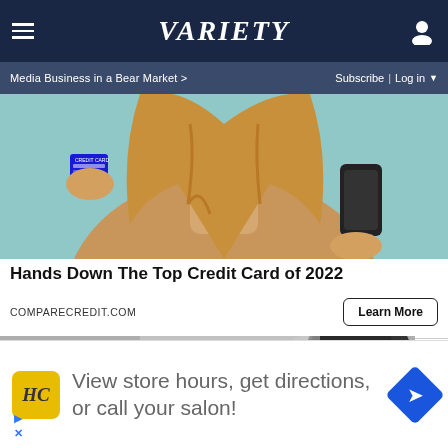Variety — Media Business in a Bear Market > | Subscribe | Log in
[Figure (photo): Woman in tan sweater holding a blue credit card and a smartphone against a teal background]
Hands Down The Top Credit Card of 2022
COMPARECREDIT.COM
Learn More
[Figure (photo): Blurred photo of people in an indoor setting, partially obscured by overlay ad]
View store hours, get directions, or call your salon!